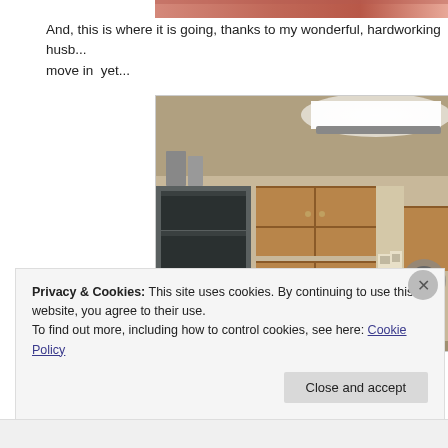[Figure (photo): Partial top view of a photo showing pink/red tones, cropped at the top of the page]
And, this is where it is going, thanks to my wonderful, hardworking husb... move in  yet...
[Figure (photo): Interior kitchen photo showing wooden cabinets, a bright fluorescent ceiling light, open shelving unit on the left, and various items on the counter]
Privacy & Cookies: This site uses cookies. By continuing to use this website, you agree to their use.
To find out more, including how to control cookies, see here: Cookie Policy
Close and accept